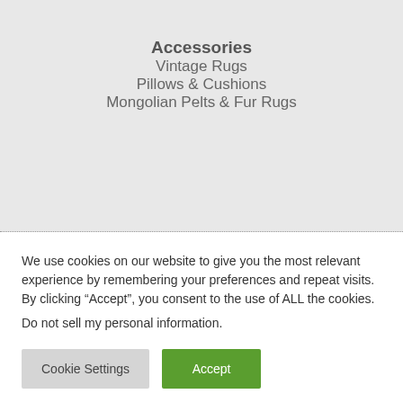Accessories
Vintage Rugs
Pillows & Cushions
Mongolian Pelts & Fur Rugs
We use cookies on our website to give you the most relevant experience by remembering your preferences and repeat visits. By clicking “Accept”, you consent to the use of ALL the cookies.
Do not sell my personal information.
Cookie Settings
Accept